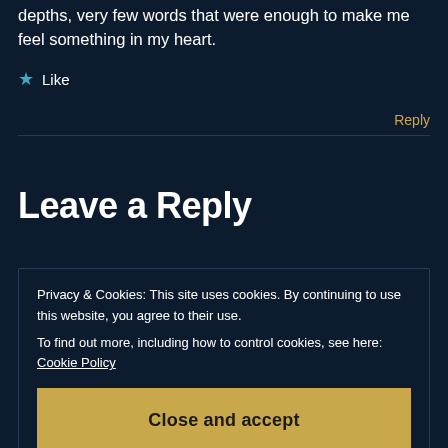depths, very few words that were enough to make me feel something in my heart.
★ Like
Reply
Leave a Reply
Privacy & Cookies: This site uses cookies. By continuing to use this website, you agree to their use.
To find out more, including how to control cookies, see here: Cookie Policy
Close and accept